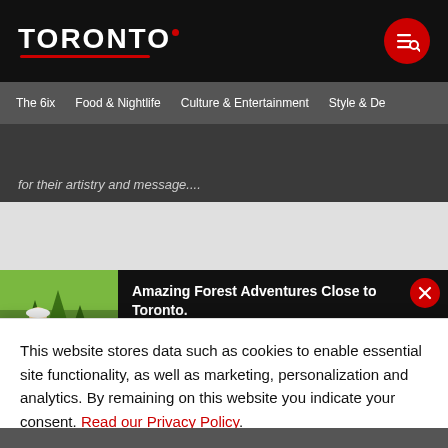TORONTO
The 6ix  Food & Nightlife  Culture & Entertainment  Style & De
for their artistry and message....
[Figure (photo): Forest Adventures banner with a woman wearing a white hat laughing outdoors among green trees]
Amazing Forest Adventures Close to Toronto.
View Details ›
This website stores data such as cookies to enable essential site functionality, as well as marketing, personalization and analytics. By remaining on this website you indicate your consent. Read our Privacy Policy.
ACCEPT